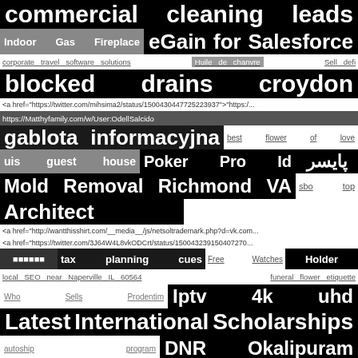commercial cleaning leads
Indoor Gas Fireplace  eGain for Salesforce
corporate travel software solutions  Huile de chanvre  Sell defi
blocked drains croydon
<a href="https://twitter.com/mihsima2/status/1500430447725223937">"https:/...
https://Matthyfamily.com/w/User:OdellSalcido
gablota informacyjna  best flower of love
uis guest house  Poker Pro Id  پایسر
Mold Removal Richmond VA  sbo top
Architect
<a href="http://wantthisshirt.com/__media__/js/netsoltrademark.php?d=vk.com...
<a href="https://twitter.com/3J64W4L8vkODCrt/status/150043239150407270...
🟫🟫🟫🟫🟫🟫  tax planning cues  Free Watches  Holder
local SEO near Naperville IL 60564  funeral flower etiquette
Who Sells Prodentim  Iptv 4k uhd
Latest International Scholarships
autoship program  DNR Okalipuram
teenpatti-live.in  Bahçeşehir evden eve nakliyat
wuko Warszawa  living expenses in asia